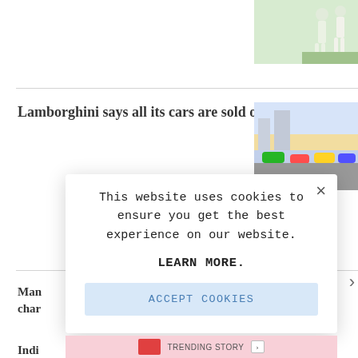[Figure (photo): Sports photo showing cricketers, partial view in top right corner]
Lamborghini says all its cars are sold out until 2024
[Figure (photo): Colorful cars photo thumbnail]
Man... char...
India... ahea...
This website uses cookies to ensure you get the best experience on our website.
LEARN MORE.
ACCEPT COOKIES